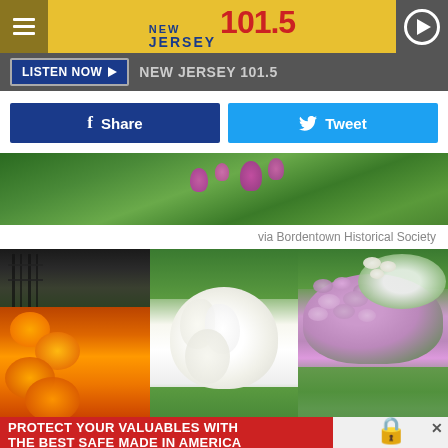[Figure (screenshot): New Jersey 101.5 radio station website header with logo, hamburger menu, play button]
[Figure (screenshot): Listen Now button bar with New Jersey 101.5 station label on dark background]
[Figure (screenshot): Facebook Share and Twitter Tweet social sharing buttons]
[Figure (photo): Close-up photo of green leaves and purple flowers]
via Bordentown Historical Society
[Figure (photo): Three-panel photo collage: orange lilies with iron gate, white magnolia blossom, purple hydrangea flowers]
[Figure (photo): Advertisement: Protect Your Valuables With The Best Safe Made In America - Liberty Safes of New Jersey, locations at Rt. 73 Mount Laurel 856-222-9904 and Rt. 130 Bordentown 609-379-6409]